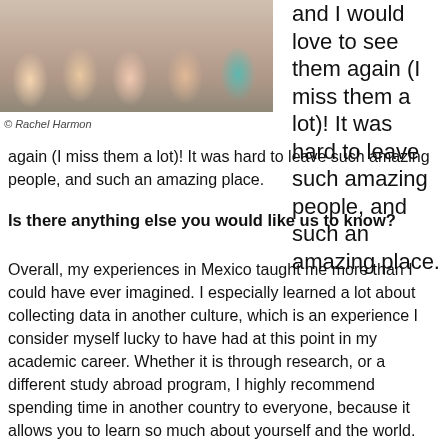[Figure (photo): Group photo of multiple people posing together, partially cropped at top]
© Rachel Harmon
and I would love to see them again (I miss them a lot)! It was hard to leave such amazing people, and such an amazing place.
Is there anything else you would like us to know?
Overall, my experiences in Mexico taught me more than I could have ever imagined. I especially learned a lot about collecting data in another culture, which is an experience I consider myself lucky to have had at this point in my academic career. Whether it is through research, or a different study abroad program, I highly recommend spending time in another country to everyone, because it allows you to learn so much about yourself and the world.